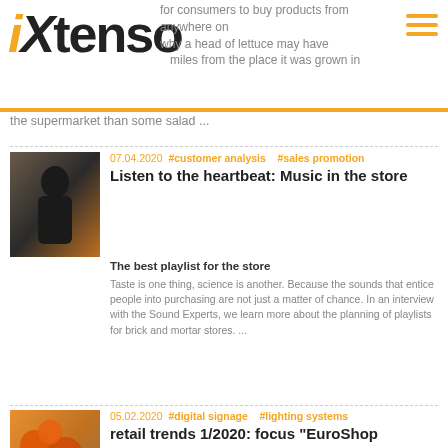iXtenso
for consumers to buy products from anywhere on why a head of lettuce may have ... miles from the place it was grown in the supermarket than some salad ...
07.04.2020  #customer analysis    #sales promotion
Listen to the heartbeat: Music in the store
The best playlist for the store
Taste is one thing, science is another. Because the sounds that entice people into purchasing are not just a matter of chance. In an interview with the Sound Experts, we learn more about the planning of playlists for brick and mortar stores. ...
05.02.2020  #digital signage    #lighting systems
retail trends 1/2020: focus "EuroShop 2020"